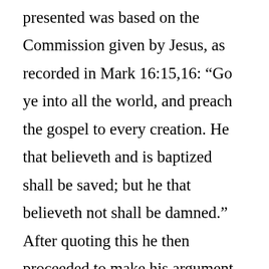presented was based on the Commission given by Jesus, as recorded in Mark 16:15,16: “Go ye into all the world, and preach the gospel to every creation. He that believeth and is baptized shall be saved; but he that believeth not shall be damned.” After quoting this he then proceeded to make his argument based on the simplicity, the understandableness, of Jesus’ statement, pointing out that it does not say, “He that believeth and is saved can then be baptized if he wants to.” That is not, first believe; second, baptism; and third salvation.